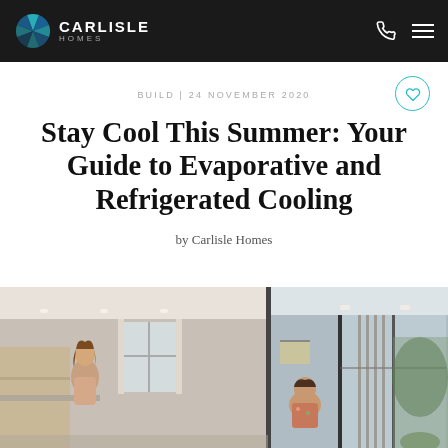CARLISLE HOMES
BUILD | 24 NOVEMBER 2020
Stay Cool This Summer: Your Guide to Evaporative and Refrigerated Cooling
by Carlisle Homes
[Figure (photo): Interior photo showing a couple relaxing in a modern open-plan living space with kitchen, dining area, and large glass sliding doors opening to an outdoor area]